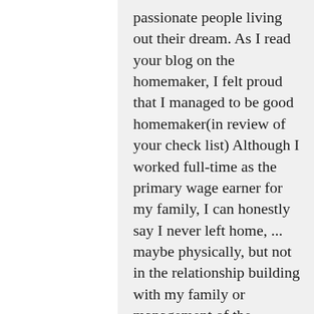passionate people living out their dream. As I read your blog on the homemaker, I felt proud that I managed to be good homemaker(in review of your check list) Although I worked full-time as the primary wage earner for my family, I can honestly say I never left home, ... maybe physically, but not in the relationship building with my family or management of the household. ....and love was hardly out of the air. My children were never t...